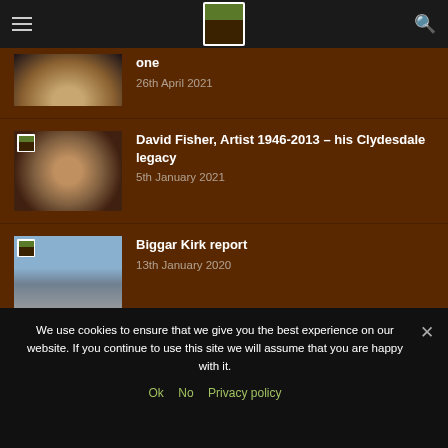Navigation header with hamburger menu, site logo, and search icon
one — 26th April 2021
David Fisher, Artist 1946-2013 – his Clydesdale legacy — 5th January 2021
Biggar Kirk report — 13th January 2020
We use cookies to ensure that we give you the best experience on our website. If you continue to use this site we will assume that you are happy with it.
Ok   No   Privacy policy